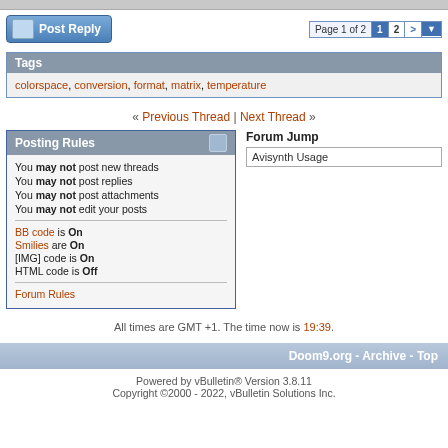Post Reply | Page 1 of 2  1  2  >
Tags
colorspace, conversion, format, matrix, temperature
« Previous Thread | Next Thread »
Posting Rules
You may not post new threads
You may not post replies
You may not post attachments
You may not edit your posts
BB code is On
Smilies are On
[IMG] code is On
HTML code is Off
Forum Rules
Forum Jump
Avisynth Usage
All times are GMT +1. The time now is 19:39.
Doom9.org - Archive - Top
Powered by vBulletin® Version 3.8.11
Copyright ©2000 - 2022, vBulletin Solutions Inc.